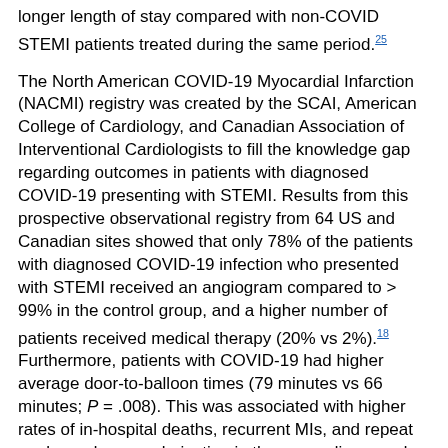longer length of stay compared with non-COVID STEMI patients treated during the same period.[25]
The North American COVID-19 Myocardial Infarction (NACMI) registry was created by the SCAI, American College of Cardiology, and Canadian Association of Interventional Cardiologists to fill the knowledge gap regarding outcomes in patients with diagnosed COVID-19 presenting with STEMI. Results from this prospective observational registry from 64 US and Canadian sites showed that only 78% of the patients with diagnosed COVID-19 infection who presented with STEMI received an angiogram compared to > 99% in the control group, and a higher number of patients received medical therapy (20% vs 2%).[18] Furthermore, patients with COVID-19 had higher average door-to-balloon times (79 minutes vs 66 minutes; P = .008). This was associated with higher rates of in-hospital deaths, recurrent MIs, and repeat unplanned revascularization in the group diagnosed with COVID-19 compared with controls (36% vs 13%; P ≤ .001).[18]
Before COVID-19 vaccines became available, there were concerns regarding balancing risk of staff exposure during PPCI in a COVID-19–positive patient and risk of mortality and morbidity from a STEMI patient treated conservatively or with fibrinolytics